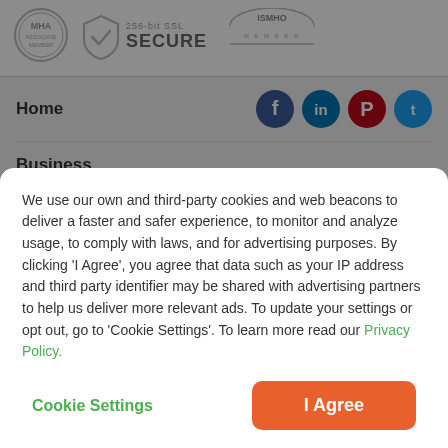[Figure (logo): MHA Associate Member circular badge logo (grey)]
[Figure (logo): 256-bit SSL Secure shield badge with checkmark]
[Figure (logo): ISMHO Member logo (dome/arch shape)]
Home
Business
About
We use our own and third-party cookies and web beacons to deliver a faster and safer experience, to monitor and analyze usage, to comply with laws, and for advertising purposes. By clicking ‘I Agree’, you agree that data such as your IP address and third party identifier may be shared with advertising partners to help us deliver more relevant ads. To update your settings or opt out, go to ‘Cookie Settings’. To learn more read our Privacy Policy.
Cookie Settings
I Agree